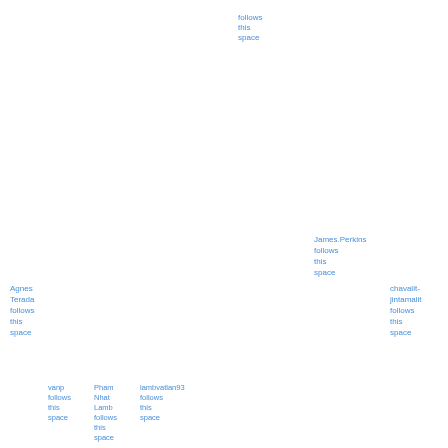[Figure (screenshot): Social network follower grid showing many grey avatar icons in rows, with several named follow cards: one at top center saying 'follows this space', James.Perkins follows this space, Agnes Terada follows this space, chavalit-jintamalit follows this space, vanp follows this space, Pham Nhat Lamb follows this space, lambvatlan93 follows this space]